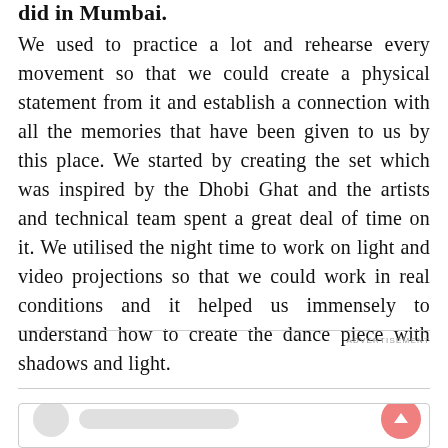did in Mumbai.
We used to practice a lot and rehearse every movement so that we could create a physical statement from it and establish a connection with all the memories that have been given to us by this place. We started by creating the set which was inspired by the Dhobi Ghat and the artists and technical team spent a great deal of time on it. We utilised the night time to work on light and video projections so that we could work in real conditions and it helped us immensely to understand how to create the dance piece with shadows and light.
ADVERTISEMENT
[Figure (other): Comment box with user avatar placeholder and scroll-to-top button]